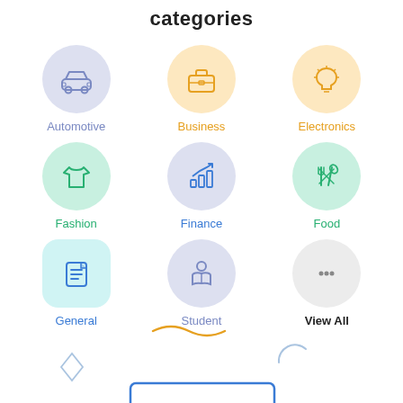categories
[Figure (infographic): 3x3 grid of category icons: Automotive (car icon, lavender circle), Business (briefcase icon, orange circle), Electronics (lightbulb icon, orange circle), Fashion (t-shirt icon, green circle), Finance (bar chart with arrow icon, blue circle), Food (fork and knife icon, green circle), General (document icon, teal rounded square, highlighted), Student (person reading icon, lavender circle), View All (three dots icon, gray circle)]